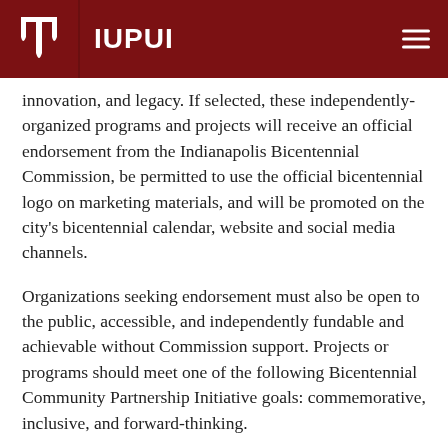IUPUI
innovation, and legacy. If selected, these independently-organized programs and projects will receive an official endorsement from the Indianapolis Bicentennial Commission, be permitted to use the official bicentennial logo on marketing materials, and will be promoted on the city's bicentennial calendar, website and social media channels.
Organizations seeking endorsement must also be open to the public, accessible, and independently fundable and achievable without Commission support. Projects or programs should meet one of the following Bicentennial Community Partnership Initiative goals: commemorative, inclusive, and forward-thinking.
Requests for endorsement should be made online through the website indyturns200.com.